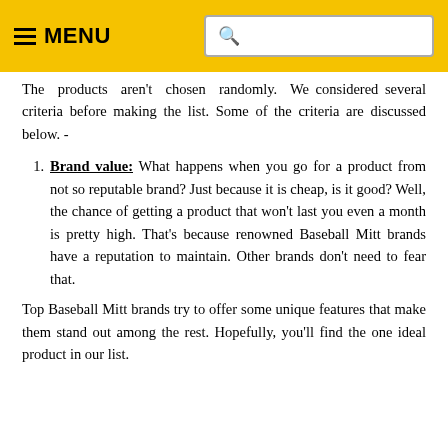MENU
The products aren't chosen randomly. We considered several criteria before making the list. Some of the criteria are discussed below. -
Brand value: What happens when you go for a product from not so reputable brand? Just because it is cheap, is it good? Well, the chance of getting a product that won't last you even a month is pretty high. That's because renowned Baseball Mitt brands have a reputation to maintain. Other brands don't need to fear that.
Top Baseball Mitt brands try to offer some unique features that make them stand out among the rest. Hopefully, you'll find the one ideal product in our list.